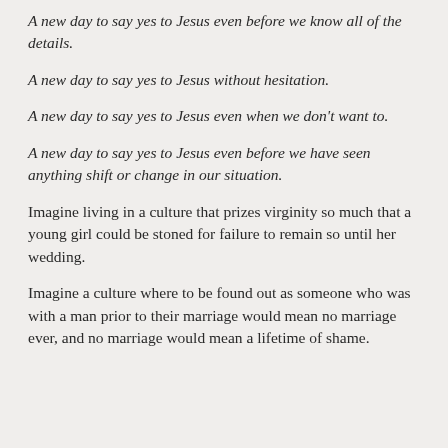A new day to say yes to Jesus even before we know all of the details.
A new day to say yes to Jesus without hesitation.
A new day to say yes to Jesus even when we don't want to.
A new day to say yes to Jesus even before we have seen anything shift or change in our situation.
Imagine living in a culture that prizes virginity so much that a young girl could be stoned for failure to remain so until her wedding.
Imagine a culture where to be found out as someone who was with a man prior to their marriage would mean no marriage ever, and no marriage would mean a lifetime of shame.